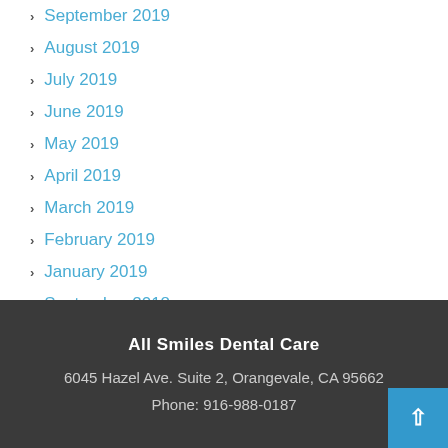September 2019
August 2019
July 2019
June 2019
May 2019
April 2019
March 2019
February 2019
January 2019
September 2018
All Smiles Dental Care
6045 Hazel Ave. Suite 2, Orangevale, CA 95662
Phone: 916-988-0187